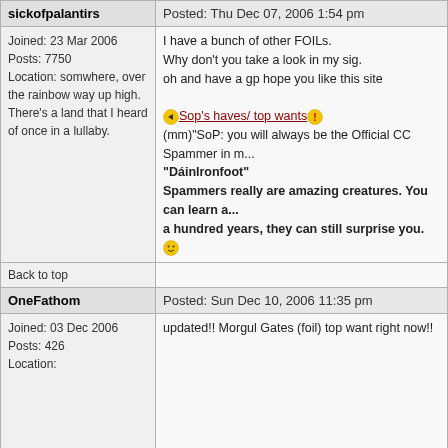sickofpalantirs
Posted: Thu Dec 07, 2006 1:54 pm
Joined: 23 Mar 2006
Posts: 7750
Location: somwhere, over the rainbow way up high. There's a land that I heard of once in a lullaby.
I have a bunch of other FOILs. Why don't you take a look in my sig. oh and have a gp hope you like this site
Sop's haves/ top wants
(mm)"SoP: you will always be the Official CC Spammer in m..."
"DáinIronfoot"
Spammers really are amazing creatures. You can learn a... a hundred years, they can still surprise you.
Back to top
OneFathom
Posted: Sun Dec 10, 2006 11:35 pm
Joined: 03 Dec 2006
Posts: 426
Location:
updated!! Morgul Gates (foil) top want right now!!
Back to top
OneFathom
Posted: Wed Dec 13, 2006 2:35 pm
Joined: 03 Dec 2006
Posts: 426
updated!